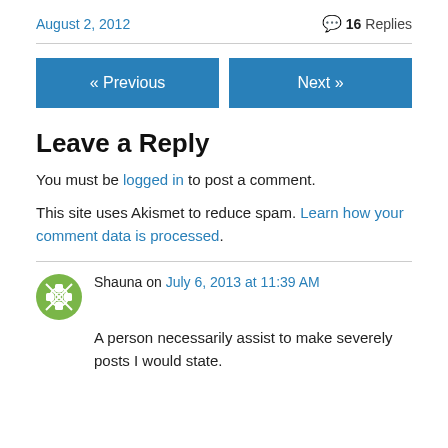August 2, 2012   💬 16 Replies
« Previous   Next »
Leave a Reply
You must be logged in to post a comment.
This site uses Akismet to reduce spam. Learn how your comment data is processed.
Shauna on July 6, 2013 at 11:39 AM
A person necessarily assist to make severely posts I would state.